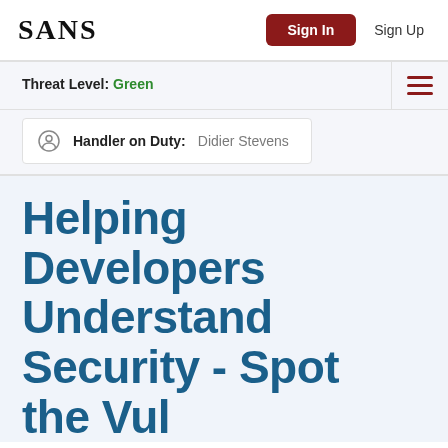SANS
Sign In
Sign Up
Threat Level: Green
Handler on Duty: Didier Stevens
Helping Developers Understand Security - Spot the Vul